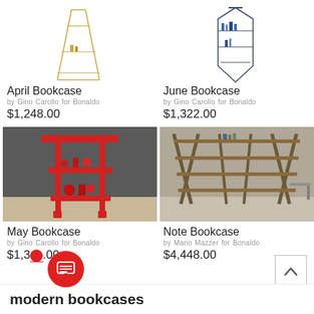[Figure (illustration): April Bookcase product image - gold wire frame tall narrow bookcase on white background]
April Bookcase
by Gino Carollo for Bonaldo
$1,248.00
[Figure (illustration): June Bookcase product image - dark navy blue wire frame bookcase on white background]
June Bookcase
by Gino Carollo for Bonaldo
$1,322.00
[Figure (photo): May Bookcase product photo - red metal frame tall narrow bookcase with red objects on shelves, grey background]
May Bookcase
by Gino Carollo for Bonaldo
$1,3__.00
[Figure (photo): Note Bookcase product photo - large wide wooden shelf unit with diagonal supports, grey room background]
Note Bookcase
by Mario Mazzer for Bonaldo
$4,448.00
modern bookcases